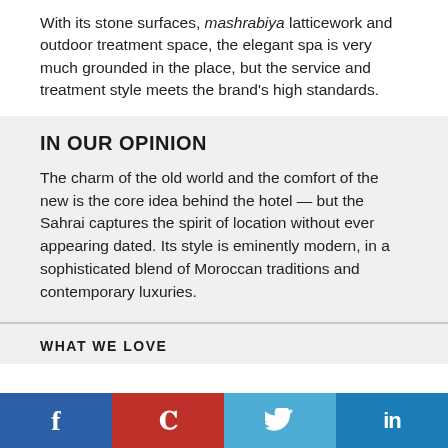With its stone surfaces, mashrabiya latticework and outdoor treatment space, the elegant spa is very much grounded in the place, but the service and treatment style meets the brand's high standards.
IN OUR OPINION
The charm of the old world and the comfort of the new is the core idea behind the hotel — but the Sahrai captures the spirit of location without ever appearing dated. Its style is eminently modern, in a sophisticated blend of Moroccan traditions and contemporary luxuries.
WHAT WE LOVE